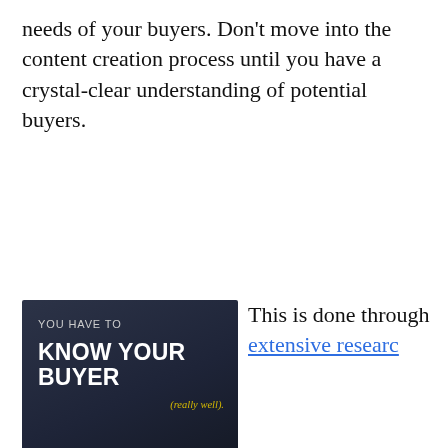needs of your buyers. Don't move into the content creation process until you have a crystal-clear understanding of potential buyers.
[Figure (illustration): Dark background image with white bold text 'KNOW YOUR BUYER' and smaller white text 'YOU HAVE TO' above it, and yellow italic text '(really well).' below]
This is done through extensive research e.g. interviewing exiting customers, sending out surveys to your email list, meetings with your sales and customer-service staff to find out what kind of questions or concerns